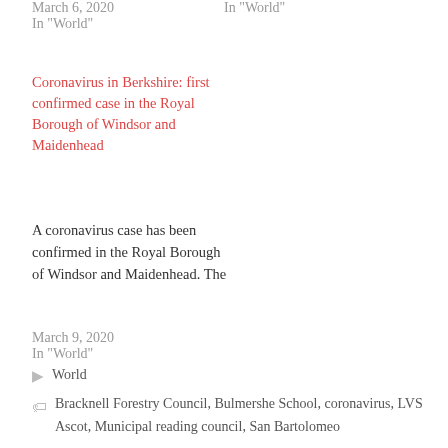March 6, 2020
In "World"
In "World"
Coronavirus in Berkshire: first confirmed case in the Royal Borough of Windsor and Maidenhead
A coronavirus case has been confirmed in the Royal Borough of Windsor and Maidenhead. The
March 9, 2020
In "World"
World
Bracknell Forestry Council, Bulmershe School, coronavirus, LVS Ascot, Municipal reading council, San Bartolomeo